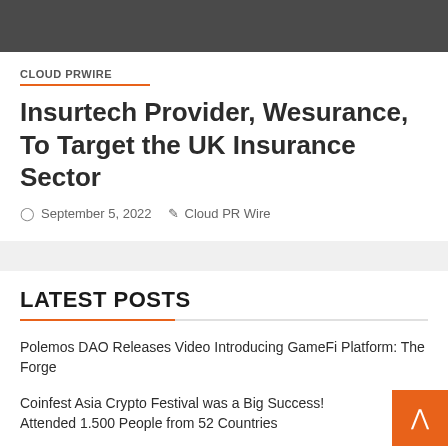[Figure (photo): Dark gray image banner at the top of the page]
CLOUD PRWIRE
Insurtech Provider, Wesurance, To Target the UK Insurance Sector
September 5, 2022   Cloud PR Wire
LATEST POSTS
Polemos DAO Releases Video Introducing GameFi Platform: The Forge
Coinfest Asia Crypto Festival was a Big Success! Attended 1.500 People from 52 Countries
Largest Crypto Expo in South East Asia at Thailand Crypto Expo